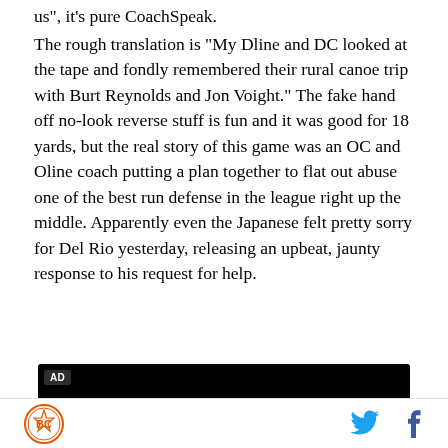us", it's pure CoachSpeak. The rough translation is "My Dline and DC looked at the tape and fondly remembered their rural canoe trip with Burt Reynolds and Jon Voight." The fake hand off no-look reverse stuff is fun and it was good for 18 yards, but the real story of this game was an OC and Oline coach putting a plan together to flat out abuse one of the best run defense in the league right up the middle. Apparently even the Japanese felt pretty sorry for Del Rio yesterday, releasing an upbeat, jaunty response to his request for help.
[Figure (other): Black advertisement box with AD label]
BC logo, Twitter icon, Facebook icon